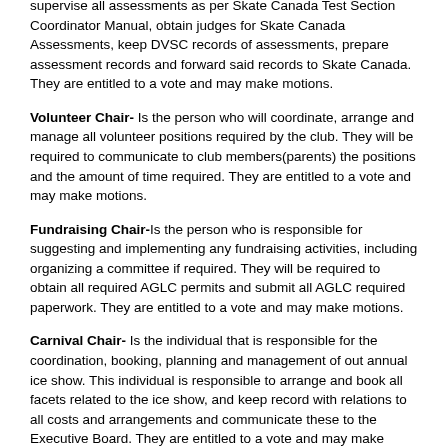supervise all assessments as per Skate Canada Test Section Coordinator Manual, obtain judges for Skate Canada Assessments, keep DVSC records of assessments, prepare assessment records and forward said records to Skate Canada. They are entitled to a vote and may make motions.
Volunteer Chair- Is the person who will coordinate, arrange and manage all volunteer positions required by the club. They will be required to communicate to club members(parents) the positions and the amount of time required. They are entitled to a vote and may make motions.
Fundraising Chair-Is the person who is responsible for suggesting and implementing any fundraising activities, including organizing a committee if required. They will be required to obtain all required AGLC permits and submit all AGLC required paperwork. They are entitled to a vote and may make motions.
Carnival Chair- Is the individual that is responsible for the coordination, booking, planning and management of out annual ice show. This individual is responsible to arrange and book all facets related to the ice show, and keep record with relations to all costs and arrangements and communicate these to the Executive Board. They are entitled to a vote and may make motions.